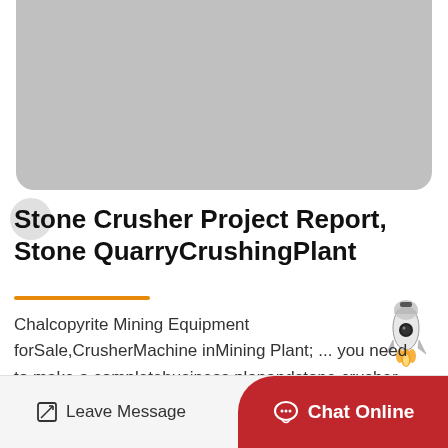[Figure (photo): Gray placeholder image area at top of page, rounded bottom corners]
Stone Crusher Project Report, Stone QuarryCrushingPlant
[Figure (illustration): Rocket ship emoji/illustration positioned to the right of the orange divider line]
Chalcopyrite Mining Equipment forSale,CrusherMachine inMining Plant; ... you need to make a completebusiness planandstone crusher project reportfor the stone quarry.Stone…
Leave Message   Chat Online